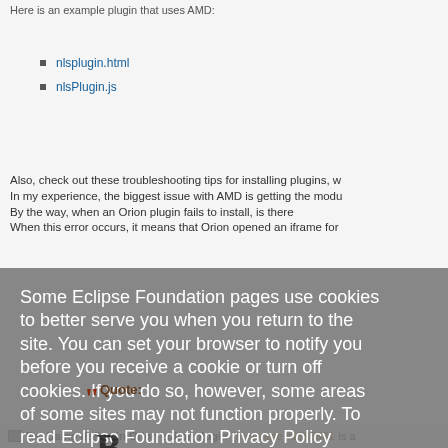Here is an example plugin that uses AMD:
nlsplugin.html
nlsPlugin.js
Also, check out these troubleshooting tips for installing plugins, w
In my experience, the biggest issue with AMD is getting the modu
By the way, when an Orion plugin fails to install, is there
When this error occurs, it means that Orion opened an iframe for
Some Eclipse Foundation pages use cookies to better serve you when you return to the site. You can set your browser to notify you before you receive a cookie or turn off cookies. If you do so, however, some areas of some sites may not function properly. To read Eclipse Foundation Privacy Policy
Click here.
Decline
Allow cookies
Re: Using define in Orion editor plugin [message #1585931 is a